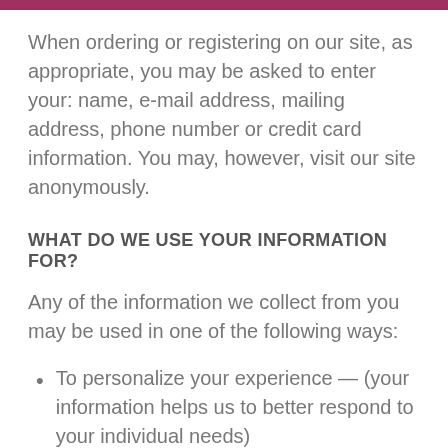When ordering or registering on our site, as appropriate, you may be asked to enter your: name, e-mail address, mailing address, phone number or credit card information. You may, however, visit our site anonymously.
WHAT DO WE USE YOUR INFORMATION FOR?
Any of the information we collect from you may be used in one of the following ways:
To personalize your experience — (your information helps us to better respond to your individual needs)